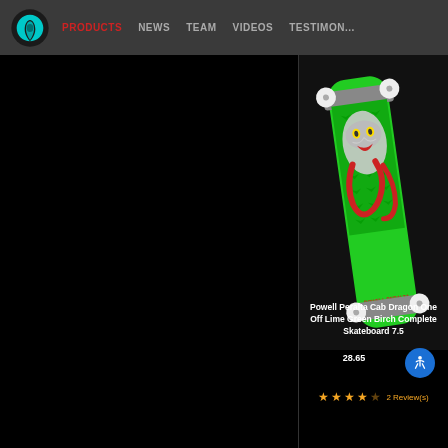PRODUCTS | NEWS | TEAM | VIDEOS | TESTIMONIALS
[Figure (photo): Powell Peralta Cab Dragon One Off Lime Green Birch Complete Skateboard with green deck featuring dragon graphic, silver trucks, and white wheels]
Powell Peralta Cab Dragon One Off Lime Green Birch Complete Skateboard 7.5
28.65
2 Review(s)